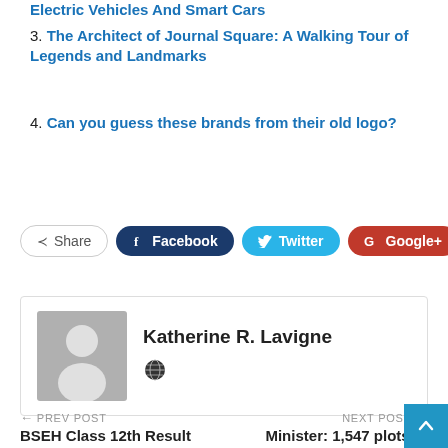Electric Vehicles And Smart Cars
3. The Architect of Journal Square: A Walking Tour of Legends and Landmarks
4. Can you guess these brands from their old logo?
[Figure (other): Social share buttons: Share, Facebook, Twitter, Google+, plus button]
[Figure (other): Author card with avatar placeholder and name Katherine R. Lavigne with globe icon]
← PREV POST | NEXT POST →
BSEH Class 12th Result 2022 Link on
Minister: 1,547 plots of land in Kelantan acquired